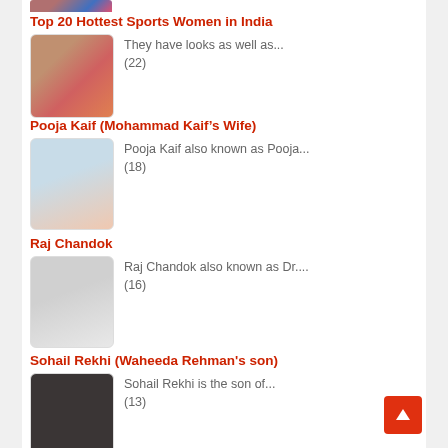[Figure (photo): Partial collage image at top of page, cropped]
Top 20 Hottest Sports Women in India
[Figure (photo): Collage of sports women photos]
They have looks as well as...
(22)
Pooja Kaif (Mohammad Kaif’s Wife)
[Figure (photo): Photo of Pooja Kaif]
Pooja Kaif also known as Pooja...
(18)
Raj Chandok
[Figure (photo): Photo of Raj Chandok with another person]
Raj Chandok also known as Dr....
(16)
Sohail Rekhi (Waheeda Rehman's son)
[Figure (photo): Photo of Sohail Rekhi]
Sohail Rekhi is the son of...
(13)